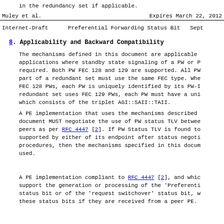in the redundancy set if applicable.
Muley et al.                    Expires March 22, 2012
Internet-Draft      Preferential Forwarding Status Bit   Sept
8. Applicability and Backward Compatibility
The mechanisms defined in this document are applicable applications where standby state signaling of a PW or P required. Both PW FEC 128 and 129 are supported. All PW part of a redundant set must use the same FEC type. Whe FEC 128 PWs, each PW is uniquely identified by its PW-I redundant set uses FEC 129 PWs, each PW must have a uni which consists of the triplet AGI::SAII::TAII.
A PE implementation that uses the mechanisms described document MUST negotiate the use of PW status TLV betwee peers as per RFC 4447 [2]. If PW Status TLV is found to supported by either of its endpoint after status negoti procedures, then the mechanisms specified in this docum used.
A PE implementation compliant to RFC 4447 [2], and whic support the generation or processing of the 'Preferenti status bit or of the 'request switchover' status bit, w these status bits if they are received from a peer PE.